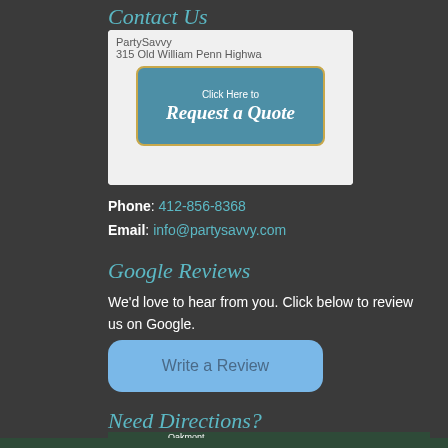Contact Us
[Figure (screenshot): PartySavvy Request a Quote button with teal background and gold border, overlaid with address text '315 Old William Penn Highway']
Phone: 412-856-8368
Email: info@partysavvy.com
Google Reviews
We'd love to hear from you. Click below to review us on Google.
[Figure (screenshot): Blue rounded rectangle button labeled 'Write a Review']
Need Directions?
[Figure (map): Google Maps embedded widget showing satellite/map view with Oakmont label visible, and Map/Satellite toggle tabs at bottom with fullscreen icon]